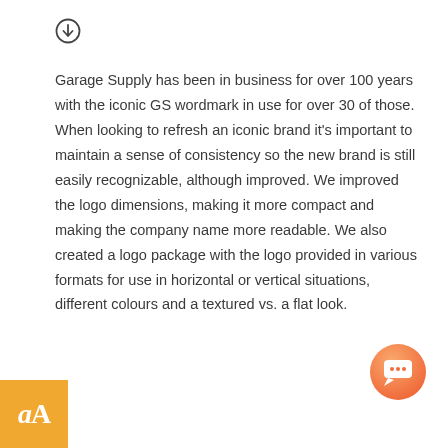[Figure (other): Circular download icon (circled downward arrow)]
Garage Supply has been in business for over 100 years with the iconic GS wordmark in use for over 30 of those. When looking to refresh an iconic brand it's important to maintain a sense of consistency so the new brand is still easily recognizable, although improved. We improved the logo dimensions, making it more compact and making the company name more readable. We also created a logo package with the logo provided in various formats for use in horizontal or vertical situations, different colours and a textured vs. a flat look.
[Figure (other): Orange gradient circular chat button with chat bubble icon]
[Figure (logo): Orange/gold square badge with white serif 'aA' text]